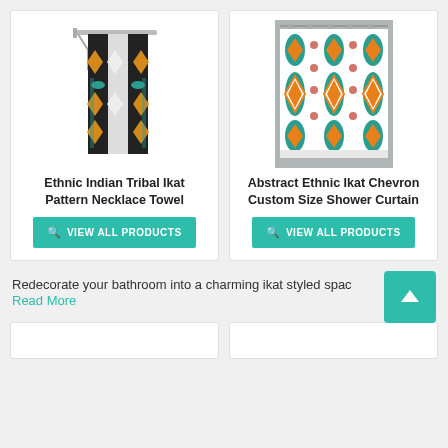[Figure (photo): Ethnic Indian Tribal Ikat Pattern Necklace Towel product image showing a decorative towel with black, teal, and orange geometric ikat pattern hung on a white rod]
Ethnic Indian Tribal Ikat Pattern Necklace Towel
VIEW ALL PRODUCTS
[Figure (photo): Abstract Ethnic Ikat Chevron Custom Size Shower Curtain product image showing a shower curtain with teal, orange, and white ikat diamond pattern installed in a bathroom]
Abstract Ethnic Ikat Chevron Custom Size Shower Curtain
VIEW ALL PRODUCTS
Redecorate your bathroom into a charming ikat styled space
Read More